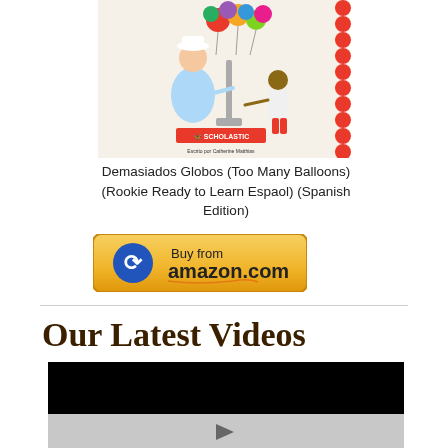[Figure (illustration): Book cover for 'Demasiados Globos (Too Many Balloons)' showing a balloon vendor and a child, published by Scholastic, with a scalloped red border on the right side.]
Demasiados Globos (Too Many Balloons) (Rookie Ready to Learn Espaol) (Spanish Edition)
[Figure (illustration): Buy from amazon.com button with Amazon logo and yellow gradient background.]
Our Latest Videos
[Figure (screenshot): Video player showing a black video area on top and a grey controls bar with a play button triangle on the bottom.]